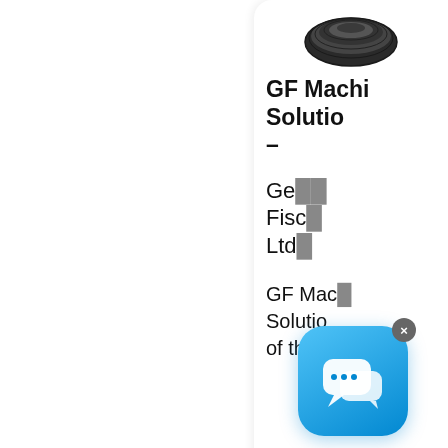[Figure (photo): Product image of coiled wire/cable, dark colored, shown at top of right sidebar card]
GF Machin Solutio –
Georg Fisc Ltd
GF Mac Solutio of the
[Figure (screenshot): Blue chat bubble icon overlay with two speech bubble marks and an X close button in top-right corner]
[Figure (other): Red circular scroll-to-top button with double upward chevron arrows]
[Figure (photo): Product image of coiled black cable/wire, shown at bottom of page in second card]
Tissue